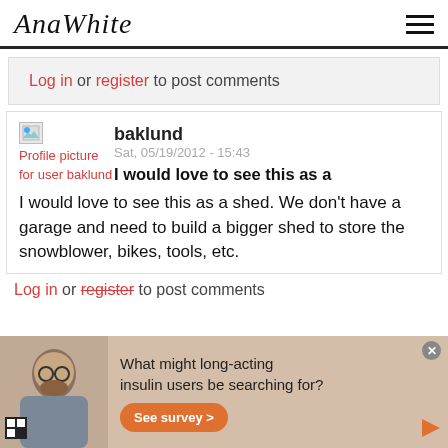AnaWhite
Log in or register to post comments
baklund
Sat, 05/19/2012 - 15:43
I would love to see this as a
I would love to see this as a shed. We don't have a garage and need to build a bigger shed to store the snowblower, bikes, tools, etc.
Log in or register to post comments
[Figure (other): Advertisement banner with man wearing glasses, text 'What might long-acting insulin users be searching for?' and orange See survey button]